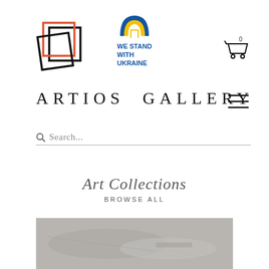[Figure (logo): Artios Gallery logo: overlapping square frames in orange-red and black]
[Figure (logo): We Stand With Ukraine badge: blue and yellow arch/rainbow icon with text 'WE STAND WITH UKRAINE' in blue]
[Figure (other): Shopping cart icon with '0' badge]
ARTIOS  GALLERY
[Figure (other): Hamburger menu icon (three horizontal lines)]
Search...
Art Collections
BROWSE ALL
[Figure (photo): Artwork image partially visible at bottom, appears to be an abstract or textured painting in grey/blue tones]